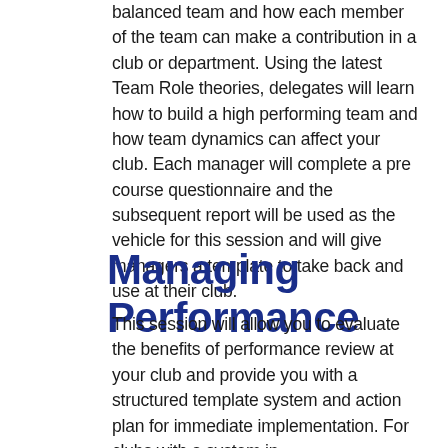balanced team and how each member of the team can make a contribution in a club or department. Using the latest Team Role theories, delegates will learn how to build a high performing team and how team dynamics can affect your club. Each manager will complete a pre course questionnaire and the subsequent report will be used as the vehicle for this session and will give managers a template to take back and use at their club.
Managing Performance
This session will allow you to evaluate the benefits of performance review at your club and provide you with a structured template system and action plan for immediate implementation. For clubs with a system in